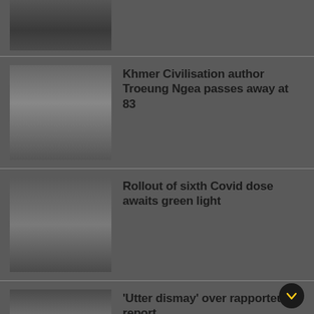[Figure (photo): Partial top image of a road or waterway scene]
[Figure (photo): An elderly man in white clothing, possibly the author Troeung Ngea]
Khmer Civilisation author Troeung Ngea passes away at 83
[Figure (photo): A group of people in light-colored clothing at what appears to be a vaccination event]
Rollout of sixth Covid dose awaits green light
[Figure (photo): Two men shaking hands, one in a suit and one in a blue outfit]
'Utter dismay' over rapporteur's report
[Figure (photo): A group of officials or police at an operation scene]
Anti-trafficking operation uncovers arms-dealing ring